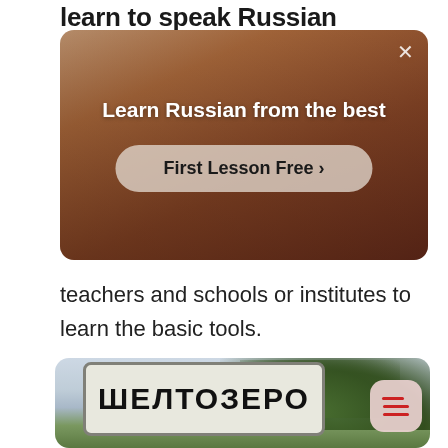learn to speak Russian
[Figure (screenshot): Advertisement banner with a person in a red shirt, title 'Learn Russian from the best' and a button 'First Lesson Free >']
teachers and schools or institutes to learn the basic tools.
[Figure (photo): Photo of a Russian road sign reading 'ШЕЛТОЗЕРО' with trees and sky in the background, and a menu button overlay in the bottom right]